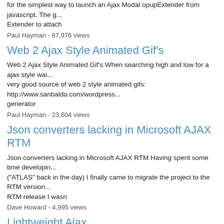for the simplest way to launch an Ajax Modal opupExtender from javascript. The g... Extender to attach
Paul Hayman - 87,976 views
Web 2 Ajax Style Animated Gif's
Web 2 Ajax Style Animated Gif's When searching high and low for a ajax style wai... very good source of web 2 style animated gifs: http://www.sanbaldo.com/wordpress... generator
Paul Hayman - 23,604 views
Json converters lacking in Microsoft AJAX RTM
Json converters lacking in Microsoft AJAX RTM Having spent some time developin... ("ATLAS" back in the day) I finally came to migrate the project to the RTM version... RTM release I wasn
Dave Howard - 4,995 views
Lightweight Ajax
Lightweight Ajax Ajax doesn't have to be complicated - at its most basic it just mean... whole page. The attached js library contains just two functions - GetContent and Ru... si
Dave Howard - 7,714 views